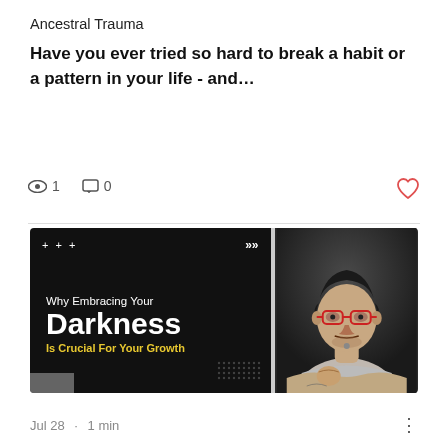Ancestral Trauma
Have you ever tried so hard to break a habit or a pattern in your life - and…
👁 1  💬 0  ♡
[Figure (illustration): Thumbnail image for a blog/video post. Left side: black background with white text reading 'Why Embracing Your Darkness Is Crucial For Your Growth' (Darkness in large bold white, 'Is Crucial For Your Growth' in yellow). Top-left shows '+ + +' and top-right shows '>>>' symbols. Right side: photo of a man with red glasses, dark hair, wearing a grey t-shirt, arms crossed on a table, leaning forward.]
Jul 28 · 1 min